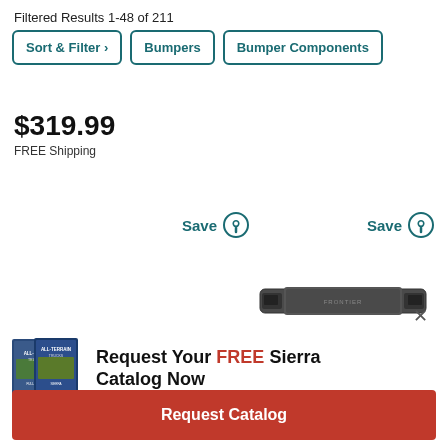Filtered Results 1-48 of 211
Sort & Filter >
Bumpers
Bumper Components
$319.99
FREE Shipping
Save
Save
[Figure (photo): Dark gray truck front bumper product image]
X
[Figure (photo): Sierra catalog cover showing truck]
Request Your FREE Sierra Catalog Now
Request Catalog